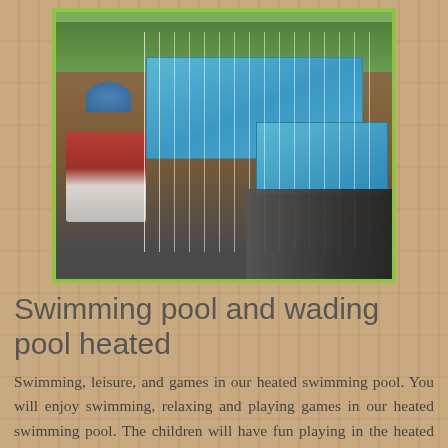[Figure (photo): Aerial/elevated view of an outdoor swimming pool and wading pool area. People lounging on deck chairs on the left side near a white fence. A blue umbrella visible. The pool water is bright blue. Surrounded by white metal fencing. Green trees and a field/lake visible in the background. Wooden deck and dark steps visible.]
Swimming pool and wading pool heated
Swimming, leisure, and games in our heated swimming pool. You will enjoy swimming, relaxing and playing games in our heated swimming pool. The children will have fun playing in the heated kiddies' pool and on the slide. The pool is heated by solar panels; the temperature of the water varies from 25 à